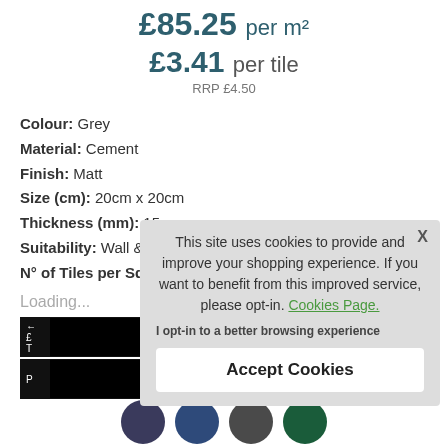£85.25 per m²
£3.41 per tile
RRP £4.50
Colour: Grey
Material: Cement
Finish: Matt
Size (cm): 20cm x 20cm
Thickness (mm): 15mm
Suitability: Wall & Floor
N° of Tiles per Squ...
Loading...
This site uses cookies to provide and improve your shopping experience. If you want to benefit from this improved service, please opt-in. Cookies Page.
I opt-in to a better browsing experience
Accept Cookies